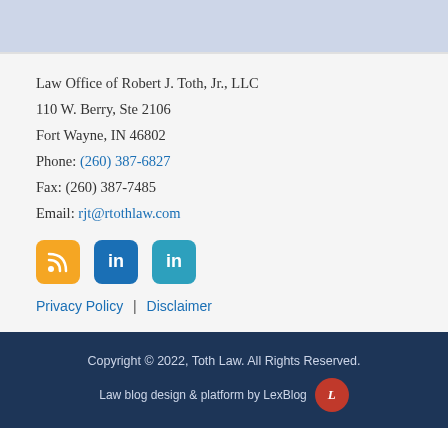Law Office of Robert J. Toth, Jr., LLC
110 W. Berry, Ste 2106
Fort Wayne, IN 46802
Phone: (260) 387-6827
Fax: (260) 387-7485
Email: rjt@rtothlaw.com
[Figure (other): Social media icons: RSS feed (orange), LinkedIn (blue), LinkedIn (teal)]
Privacy Policy | Disclaimer
Copyright © 2022, Toth Law. All Rights Reserved.
Law blog design & platform by LexBlog